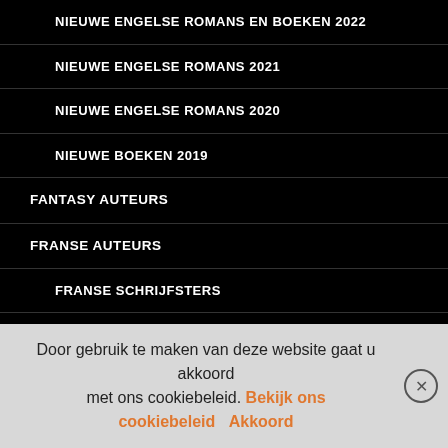NIEUWE ENGELSE ROMANS EN BOEKEN 2022
NIEUWE ENGELSE ROMANS 2021
NIEUWE ENGELSE ROMANS 2020
NIEUWE BOEKEN 2019
FANTASY AUTEURS
FRANSE AUTEURS
FRANSE SCHRIJFSTERS
FRANSE THRILLERS
NIEUWE FRANSE ROMANS
CORSICAANSE AUTEURS
IERSE AUTEURS
ISRAËLISCHE AUTEURS
Door gebruik te maken van deze website gaat u akkoord met ons cookiebeleid. Bekijk ons cookiebeleid  Akkoord